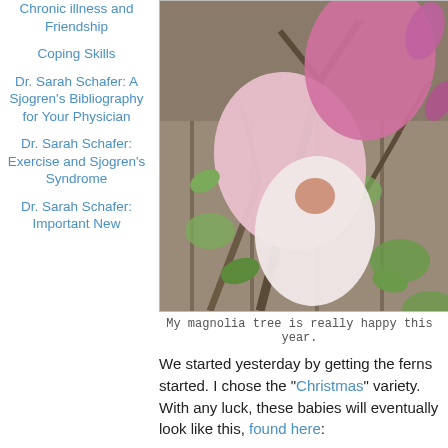Chronic illness and Friendship
Coping Skills
Dr. Sarah Schafer: A Sjogren's Bibliography for Your Physician
Dr. Sarah Schafer: Exercise and Sjogren's Syndrome
Dr. Sarah Schafer: Important New
[Figure (photo): Close-up photo of pink magnolia tree blossoms with branches and fence in background]
My magnolia tree is really happy this year.
We started yesterday by getting the ferns started. I chose the "Christmas" variety. With any luck, these babies will eventually look like this, found here: